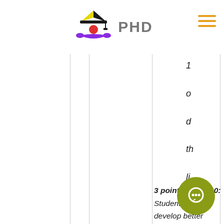PHD
1 o d th li fo T s i a o m C
3 points out of 10: Student needs to develop better formatting skills.